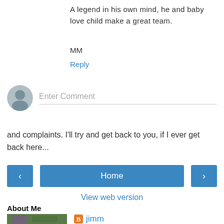A legend in his own mind, he and baby love child make a great team.
MM
Reply
[Figure (other): Comment input area with avatar placeholder and 'Enter Comment' text field]
and complaints. I'll try and get back to you, if I ever get back here...
[Figure (other): Navigation buttons: left arrow, Home (center), right arrow]
View web version
About Me
[Figure (photo): Profile photo showing a person with purple hair outdoors among greenery]
jimm
BSE adoptee, I was neither "scooped" nor